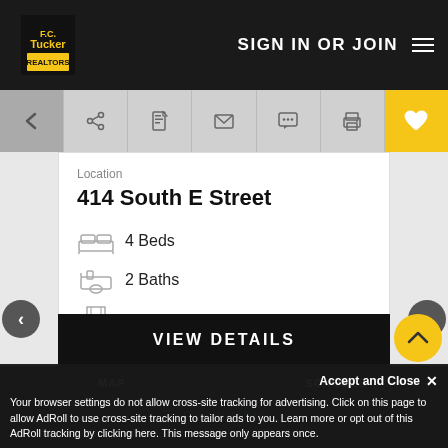F.C. Tucker - SIGN IN OR JOIN
[Figure (screenshot): Toolbar with back, share, report, email, chat, print, and favorite (heart) icons]
Location
414 South E Street
4 Beds
2 Baths
1,848 sq. Ft
$219,900
VIEW DETAILS
MAP   SCHOOLS   City, IN 46933
Accept and Close ✕
Your browser settings do not allow cross-site tracking for advertising. Click on this page to allow AdRoll to use cross-site tracking to tailor ads to you. Learn more or opt out of this AdRoll tracking by clicking here. This message only appears once.